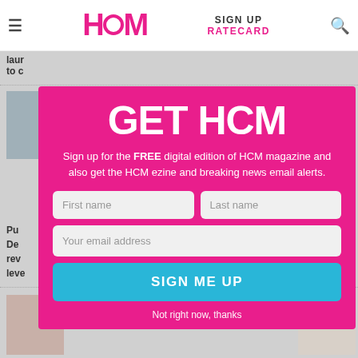HCM  SIGN UP  RATECARD
[Figure (screenshot): Background page content showing article thumbnails and text partially visible behind the modal overlay]
GET HCM
Sign up for the FREE digital edition of HCM magazine and also get the HCM ezine and breaking news email alerts.
First name
Last name
Your email address
SIGN ME UP
Not right now, thanks